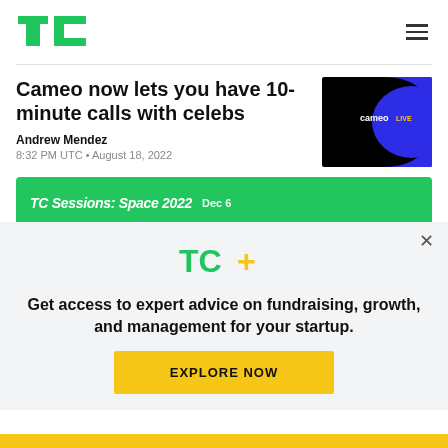TechCrunch
Cameo now lets you have 10-minute calls with celebs
Andrew Mendez
8:32 PM UTC • August 18, 2022
[Figure (screenshot): Cameo Live logo on black and blue background]
[Figure (screenshot): TC Sessions: Space 2022 Dec 6 green banner]
[Figure (logo): TC+ logo in green and yellow]
Get access to expert advice on fundraising, growth, and management for your startup.
EXPLORE NOW